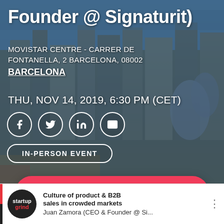Founder @ Signaturit)
MOVISTAR CENTRE - CARRER DE FONTANELLA, 2 BARCELONA, 08002
BARCELONA
THU, NOV 14, 2019, 6:30 PM (CET)
[Figure (infographic): Social share icons: Facebook, Twitter, LinkedIn, Email — white circles on photo background]
IN-PERSON EVENT
[Figure (infographic): Red pill-shaped button with chat bubble icon: 'Payment Issues? Let us know']
Culture of product & B2B sales in crowded markets
Juan Zamora (CEO & Founder @ Si...